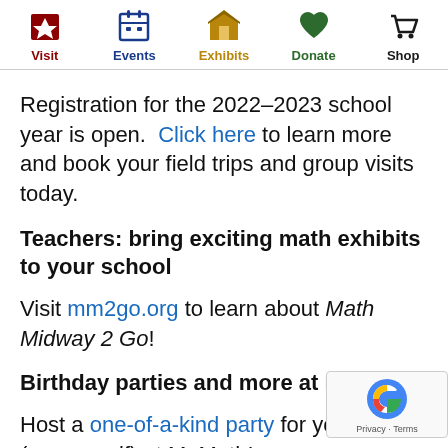Visit | Events | Exhibits | Donate | Shop
Registration for the 2022–2023 school year is open. Click here to learn more and book your field trips and group visits today.
Teachers: bring exciting math exhibits to your school
Visit mm2go.org to learn about Math Midway 2 Go!
Birthday parties and more at MoMath
Host a one-of-a-kind party for your child (or yourself) at MoMath!